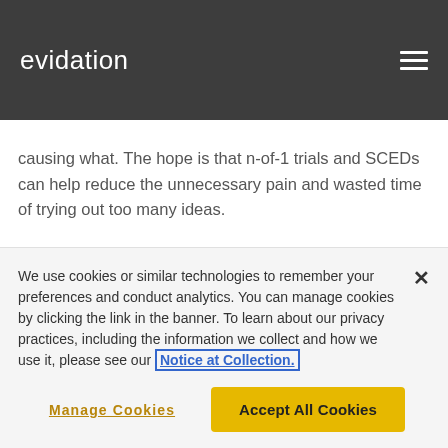evidation
causing what. The hope is that n-of-1 trials and SCEDs can help reduce the unnecessary pain and wasted time of trying out too many ideas.
Elvira's story shows us the amazing potential for n-of-1 trials and SCEDs to help each of us figure out exactly what's going on in our own lives. They can help us use
We use cookies or similar technologies to remember your preferences and conduct analytics. You can manage cookies by clicking the link in the banner. To learn about our privacy practices, including the information we collect and how we use it, please see our Notice at Collection.
Manage Cookies
Accept All Cookies